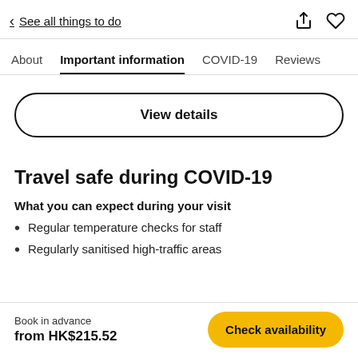< See all things to do
About | Important information | COVID-19 | Reviews
View details
Travel safe during COVID-19
What you can expect during your visit
Regular temperature checks for staff
Regularly sanitised high-traffic areas
Book in advance
from HK$215.52
Check availability